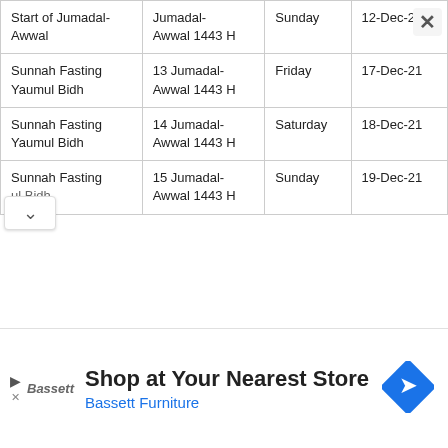| Event | Hijri Date | Day | Gregorian Date |
| --- | --- | --- | --- |
| Start of Jumadal-Awwal | Jumadal-Awwal 1443 H | Sunday | 12-Dec-21 |
| Sunnah Fasting Yaumul Bidh | 13 Jumadal-Awwal 1443 H | Friday | 17-Dec-21 |
| Sunnah Fasting Yaumul Bidh | 14 Jumadal-Awwal 1443 H | Saturday | 18-Dec-21 |
| Sunnah Fasting Yaumul Bidh | 15 Jumadal-Awwal 1443 H | Sunday | 19-Dec-21 |
[Figure (other): Advertisement banner for Bassett Furniture: 'Shop at Your Nearest Store' with Bassett logo and navigation arrow icon]